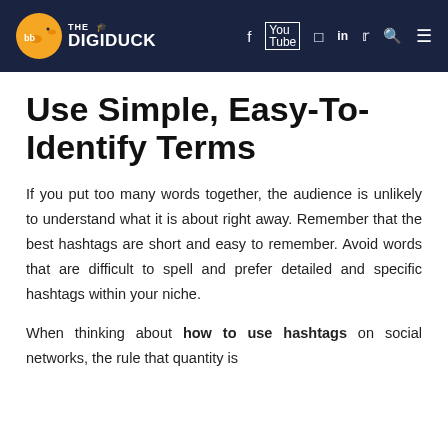THE DIGIDUCK — navigation icons: f, YouTube, Instagram, in, Twitter, Search, Menu
Use Simple, Easy-To-Identify Terms
If you put too many words together, the audience is unlikely to understand what it is about right away. Remember that the best hashtags are short and easy to remember. Avoid words that are difficult to spell and prefer detailed and specific hashtags within your niche.
When thinking about how to use hashtags on social networks, the rule that quantity is